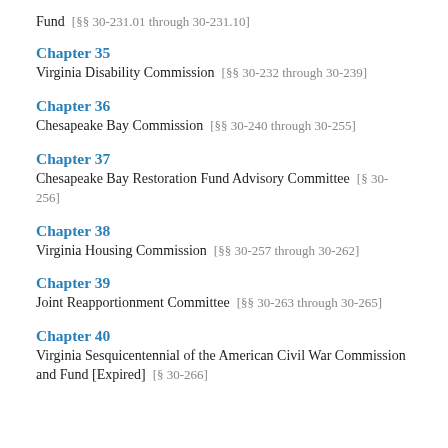Fund [§§ 30-231.01 through 30-231.10]
Chapter 35
Virginia Disability Commission [§§ 30-232 through 30-239]
Chapter 36
Chesapeake Bay Commission [§§ 30-240 through 30-255]
Chapter 37
Chesapeake Bay Restoration Fund Advisory Committee [§ 30-256]
Chapter 38
Virginia Housing Commission [§§ 30-257 through 30-262]
Chapter 39
Joint Reapportionment Committee [§§ 30-263 through 30-265]
Chapter 40
Virginia Sesquicentennial of the American Civil War Commission and Fund [Expired] [§ 30-266]